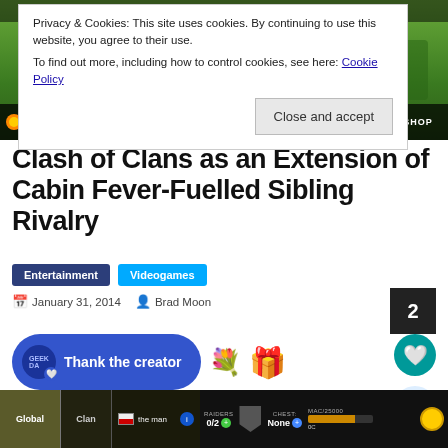[Figure (screenshot): Clash of Clans game screenshot showing green village terrain with a player notification bar at bottom showing 'Fraky135047 has been kicked out of the clan by elixir' and a SHOP button]
Privacy & Cookies: This site uses cookies. By continuing to use this website, you agree to their use.
To find out more, including how to control cookies, see here: Cookie Policy
Close and accept
Clash of Clans as an Extension of Cabin Fever-Fuelled Sibling Rivalry
Entertainment   Videogames
January 31, 2014   Brad Moon
Thank the creator
[Figure (screenshot): Clash of Clans game interface showing Global and Clan chat tabs, a player with flag icon, Raiders 0/2, Chest: None, and gold bar HUD elements]